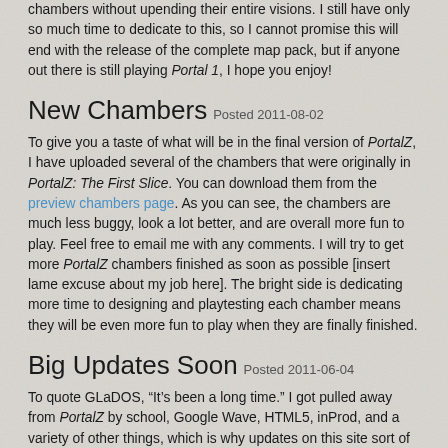chambers without upending their entire visions.  I still have only so much time to dedicate to this, so I cannot promise this will end with the release of the complete map pack, but if anyone out there is still playing Portal 1, I hope you enjoy!
New Chambers Posted 2011-08-02
To give you a taste of what will be in the final version of PortalZ, I have uploaded several of the chambers that were originally in PortalZ: The First Slice.  You can download them from the preview chambers page.  As you can see, the chambers are much less buggy, look a lot better, and are overall more fun to play.  Feel free to email me with any comments.  I will try to get more PortalZ chambers finished as soon as possible [insert lame excuse about my job here].  The bright side is dedicating more time to designing and playtesting each chamber means they will be even more fun to play when they are finally finished.
Big Updates Soon Posted 2011-06-04
To quote GLaDOS, “It’s been a long time.”  I got pulled away from PortalZ by school, Google Wave, HTML5, inProd, and a variety of other things, which is why updates on this site sort of died.  I did have some time to work on PortalZ over the past year and a half, but the map pack progressed slowly because of my other distractions.  In March, the imponding release of Portal 2 reminded me that I had not finished